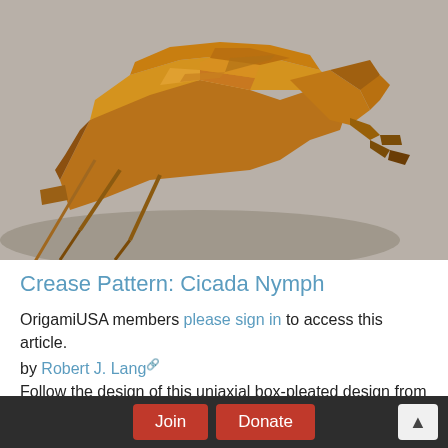[Figure (photo): Photograph of an origami cicada nymph model made from brown/copper-colored paper, showing detailed folded legs and claws against a light gray background.]
Crease Pattern: Cicada Nymph
OrigamiUSA members please sign in to access this article.
by Robert J. Lang
Follow the design of this uniaxial box-pleated design from
Join  Donate  ↑